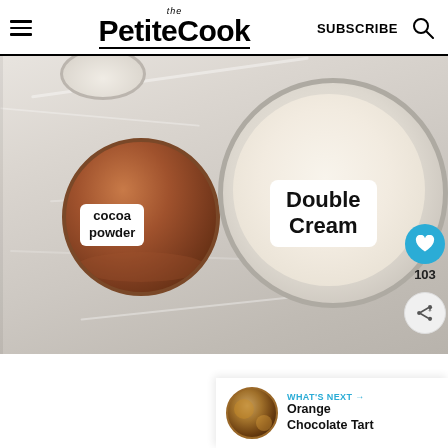the PetiteCook — SUBSCRIBE
[Figure (photo): Top-down view of ingredients on a marble surface: a small jar of cocoa powder with a label reading 'cocoa powder', a large shallow bowl filled with double cream labeled 'Double Cream', and a partial small bowl at top. Sidebar shows heart icon with count 103 and a share icon.]
[Figure (infographic): What's Next promo bar showing a thumbnail of an Orange Chocolate Tart with text 'WHAT'S NEXT → Orange Chocolate Tart']